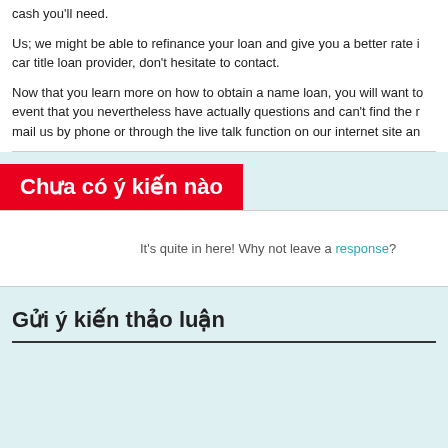cash you'll need.
Us; we might be able to refinance your loan and give you a better rate i... car title loan provider, don't hesitate to contact.
Now that you learn more on how to obtain a name loan, you will want to... event that you nevertheless have actually questions and can't find the r... mail us by phone or through the live talk function on our internet site an...
Chưa có ý kiến nào
It's quite in here! Why not leave a response?
Gửi ý kiến thảo luận